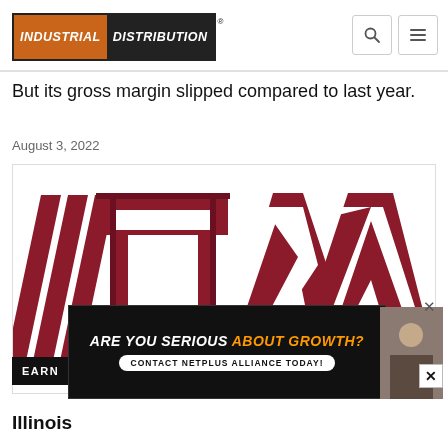INDUSTRIAL DISTRIBUTION
But its gross margin slipped compared to last year.
August 3, 2022
[Figure (logo): ITW (Illinois Tool Works) logo — large dark red letters I, T, W cropped closely, with diagonal stripe motifs, on white background]
EARN
Illinois